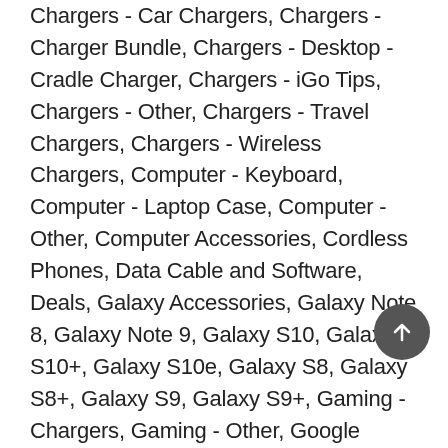Chargers - Car Chargers, Chargers - Charger Bundle, Chargers - Desktop - Cradle Charger, Chargers - iGo Tips, Chargers - Other, Chargers - Travel Chargers, Chargers - Wireless Chargers, Computer - Keyboard, Computer - Laptop Case, Computer - Other, Computer Accessories, Cordless Phones, Data Cable and Software, Deals, Galaxy Accessories, Galaxy Note 8, Galaxy Note 9, Galaxy S10, Galaxy S10+, Galaxy S10e, Galaxy S8, Galaxy S8+, Galaxy S9, Galaxy S9+, Gaming - Chargers, Gaming - Other, Google Pixel, GPS Units - Accessories, GPS Units And Accessories, Headsets, Headsets - Bluetooth, Headsets - Spliters and Adapters, Headsets - Stereo, Holster and Belt clip, Home & Garden, Home and Car Audio, Home and Garden, iPad 1 Accessories, iPad 2 Accessories, iPad 2>Cases, iPad 3 Accessories, iPad Accessories, iPad Air, iPad Air>Cases, iPad Mini Accessories, iPad Mini>Cases, iPad Pro, iPad Pro>Cases, iPhone 11 Pro Max>Cases, iPhone 11 Pro>Cases, iPhone